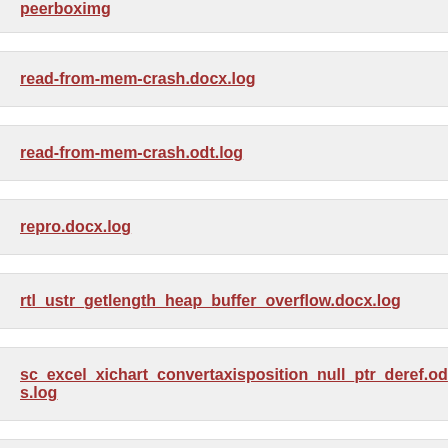peerboximg
read-from-mem-crash.docx.log
read-from-mem-crash.odt.log
repro.docx.log
rtl_ustr_getlength_heap_buffer_overflow.docx.log
sc_excel_xichart_convertaxisposition_null_ptr_deref.ods.log
sc_sctabview_segmentation_fault.ods.log
sc_xichart_setdataformat_null_ptr_deref.ods.log